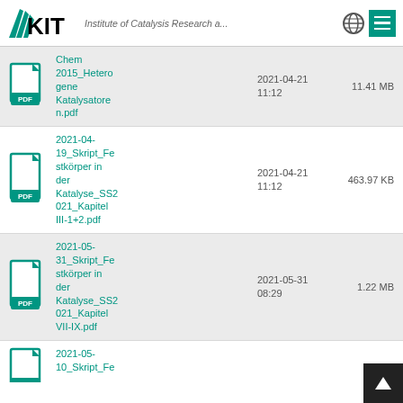KIT — Institute of Catalysis Research a...
Chem 2015_Heterogene Katalysatoren.pdf | 2021-04-21 11:12 | 11.41 MB
2021-04-19_Skript_Festkörper in der Katalyse_SS2021_Kapitel III-1+2.pdf | 2021-04-21 11:12 | 463.97 KB
2021-05-31_Skript_Festkörper in der Katalyse_SS2021_Kapitel VII-IX.pdf | 2021-05-31 08:29 | 1.22 MB
2021-05-10_Skript_Fe...